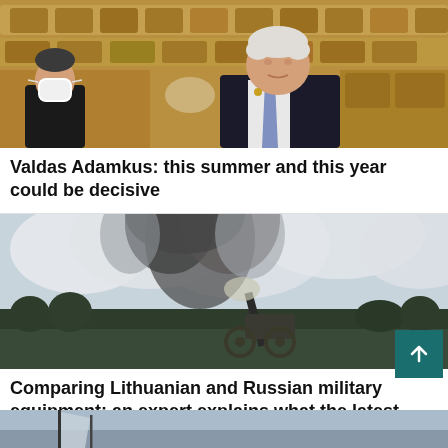[Figure (photo): An elderly man in a dark suit and blue tie speaking at what appears to be a parliamentary session, with another person wearing a face mask visible in the background, seated among legislative assembly chairs.]
Valdas Adamkus: this summer and this year could be decisive
[Figure (photo): Military artillery firing with large smoke clouds rising against a cloudy sky, with trees visible in the background.]
Comparing Lithuanian and Russian military equipment: an expert explains what the latest purchases...
[Figure (photo): Partial view of a scene showing what appears to be a boat mast or ship at the bottom of the page.]